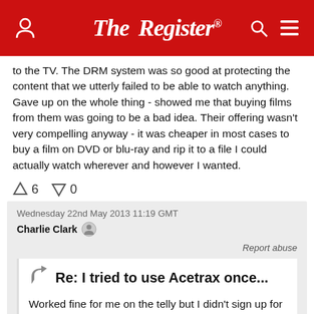The Register
to the TV. The DRM system was so good at protecting the content that we utterly failed to be able to watch anything. Gave up on the whole thing - showed me that buying films from them was going to be a bad idea. Their offering wasn't very compelling anyway - it was cheaper in most cases to buy a film on DVD or blu-ray and rip it to a file I could actually watch wherever and however I wanted.
↑6  ↓0
Wednesday 22nd May 2013 11:19 GMT
Charlie Clark
Report abuse
Re: I tried to use Acetrax once...
Worked fine for me on the telly but I didn't sign up for more…